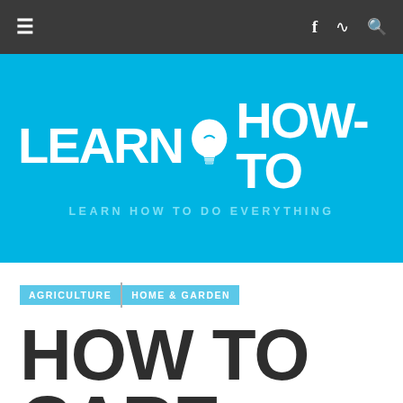≡   f  RSS  🔍
[Figure (logo): Learn How-To logo with lightbulb icon on blue background, tagline: LEARN HOW TO DO EVERYTHING]
AGRICULTURE | HOME & GARDEN
HOW TO CARE FOR FERNS